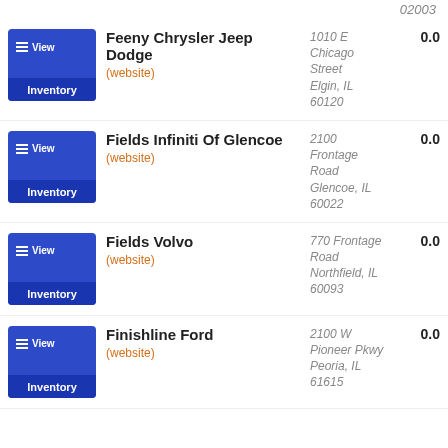02003
Feeny Chrysler Jeep Dodge | (website) | 1010 E Chicago Street Elgin, IL 60120 | 0.0
Fields Infiniti Of Glencoe | (website) | 2100 Frontage Road Glencoe, IL 60022 | 0.0
Fields Volvo | (website) | 770 Frontage Road Northfield, IL 60093 | 0.0
Finishline Ford | (website) | 2100 W Pioneer Pkwy Peoria, IL 61615 | 0.0